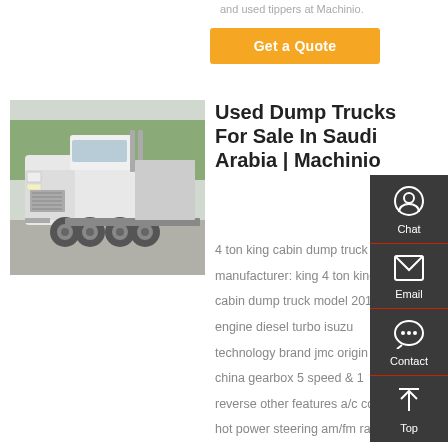and used tippers at Machinio.
Get a Quote
[Figure (photo): White truck tractor/semi cab, rear three-quarter view, parked outdoors]
Used Dump Trucks For Sale In Saudi Arabia | Machinio
4 ton king cabin dump truck manufacturer: king 4 ton king cabin dump truck model 2019 engine diesel turbo isuzu technology brand jmc origin china gearbox 5 speed & 1 reverse other features a/c cold & hot power steering am/fm radio power windows shipping and r
[Figure (other): Sidebar with Chat, Email, Contact, and Top navigation icons]